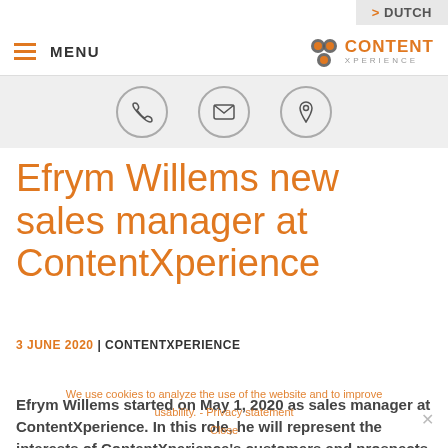> DUTCH
MENU | CONTENT XPERIENCE
[Figure (other): Navigation icon row with phone, email, and location icons in circles on grey background]
Efrym Willems new sales manager at ContentXperience
3 JUNE 2020 | CONTENTXPERIENCE
We use cookies to analyze the use of the website and to improve usability. - Privacy statement Close
Efrym Willems started on May 1, 2020 as sales manager at ContentXperience. In this role, he will represent the interests of ContentXperience's customers and prospects